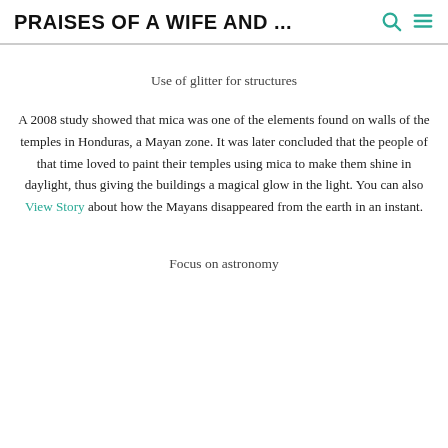PRAISES OF A WIFE AND ...
Use of glitter for structures
A 2008 study showed that mica was one of the elements found on walls of the temples in Honduras, a Mayan zone. It was later concluded that the people of that time loved to paint their temples using mica to make them shine in daylight, thus giving the buildings a magical glow in the light. You can also View Story about how the Mayans disappeared from the earth in an instant.
Focus on astronomy